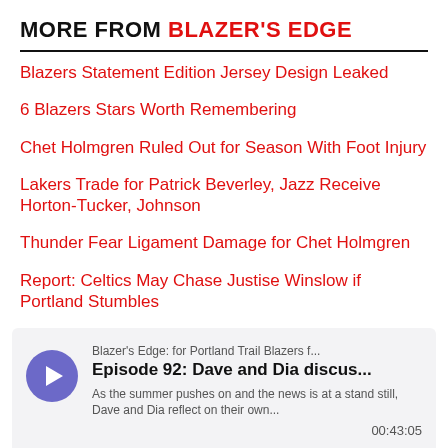MORE FROM BLAZER'S EDGE
Blazers Statement Edition Jersey Design Leaked
6 Blazers Stars Worth Remembering
Chet Holmgren Ruled Out for Season With Foot Injury
Lakers Trade for Patrick Beverley, Jazz Receive Horton-Tucker, Johnson
Thunder Fear Ligament Damage for Chet Holmgren
Report: Celtics May Chase Justise Winslow if Portland Stumbles
[Figure (other): Podcast player card for Blazer's Edge Episode 92: Dave and Dia discus... with play button, episode description, timestamp 00:43:05, and audio waveform visualization]